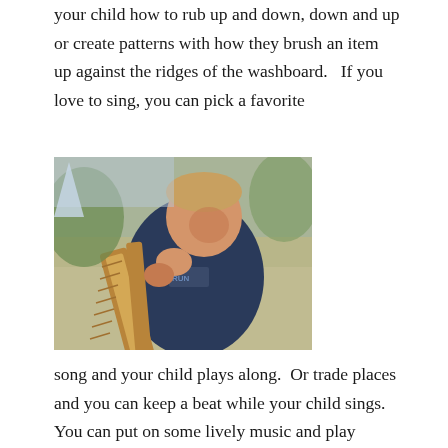your child how to rub up and down, down and up or create patterns with how they brush an item up against the ridges of the washboard.   If you love to sing, you can pick a favorite
[Figure (photo): A young boy in a dark blue shirt playing with a washboard musical instrument outdoors]
song and your child plays along.  Or trade places and you can keep a beat while your child sings. You can put on some lively music and play along.  You can talk about whether the music is fast or slow or loud or soft and how you might like to play along.  Or you can try some of the